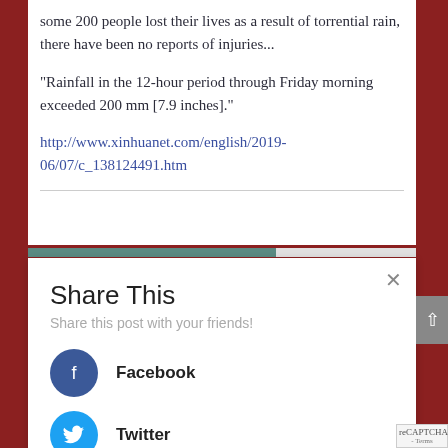some 200 people lost their lives as a result of torrential rain, there have been no reports of injuries...
“Rainfall in the 12-hour period through Friday morning exceeded 200 mm [7.9 inches].”
http://www.xinhuanet.com/english/2019-06/07/c_138124491.htm
[Figure (screenshot): Share This modal popup with Facebook and Twitter social share buttons, close button (x), subtitle 'Share this post with your friends!']
Share This
Share this post with your friends!
Facebook
Twitter